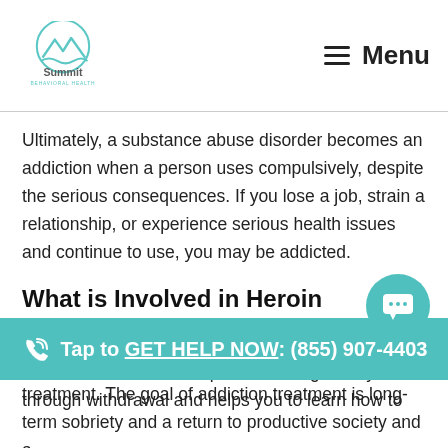Summit Behavioral Health — Menu
Ultimately, a substance abuse disorder becomes an addiction when a person uses compulsively, despite the serious consequences. If you lose a job, strain a relationship, or experience serious health issues and continue to use, you may be addicted.
What is Involved in Heroin Addiction Treatment?
Addiction treatment is a process that guides you through withdrawal and helps you to learn how to treatment. The goal of addiction treatment is long-term sobriety and a return to productive society and a
Tap to GET HELP NOW: (855) 907-4403